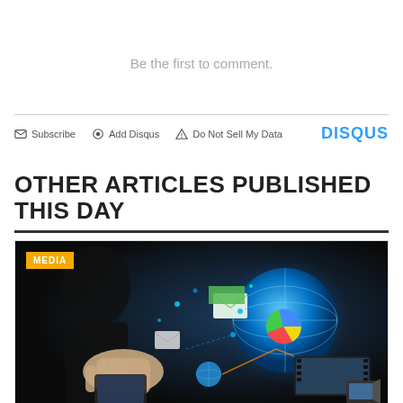Be the first to comment.
Subscribe  Add Disqus  Do Not Sell My Data  DISQUS
OTHER ARTICLES PUBLISHED THIS DAY
[Figure (photo): Technology media image showing a hand holding digital media icons, a globe, and connected devices with 'MEDIA' badge overlay]